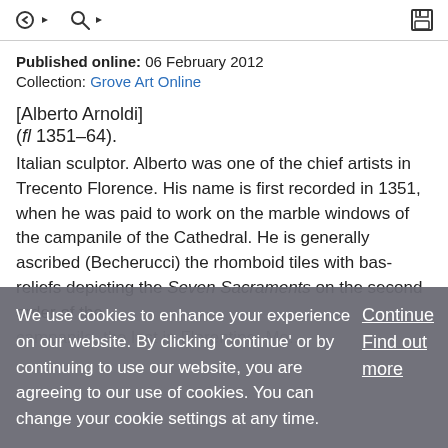Navigation and search icons with save button
Published online: 06 February 2012
Collection: Grove Art Online
[Alberto Arnoldi]
(fl 1351–64).
Italian sculptor. Alberto was one of the chief artists in Trecento Florence. His name is first recorded in 1351, when he was paid to work on the marble windows of the campanile of the Cathedral. He is generally ascribed (Becherucci) the rhomboid tiles with bas-reliefs depicting the Seven Sacraments on the second order of the
We use cookies to enhance your experience on our website. By clicking 'continue' or by continuing to use our website, you are agreeing to our use of cookies. You can change your cookie settings at any time.